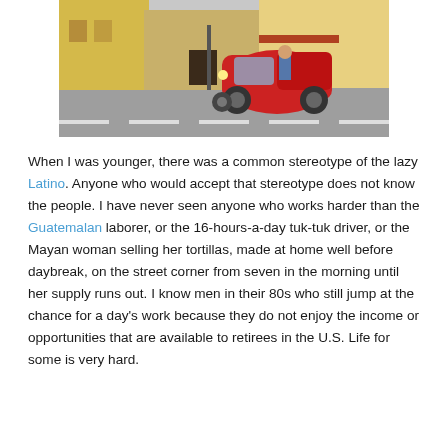[Figure (photo): A red tuk-tuk vehicle parked on a street in front of colorful buildings]
When I was younger, there was a common stereotype of the lazy Latino. Anyone who would accept that stereotype does not know the people. I have never seen anyone who works harder than the Guatemalan laborer, or the 16-hours-a-day tuk-tuk driver, or the Mayan woman selling her tortillas, made at home well before daybreak, on the street corner from seven in the morning until her supply runs out. I know men in their 80s who still jump at the chance for a day's work because they do not enjoy the income or opportunities that are available to retirees in the U.S. Life for some is very hard.